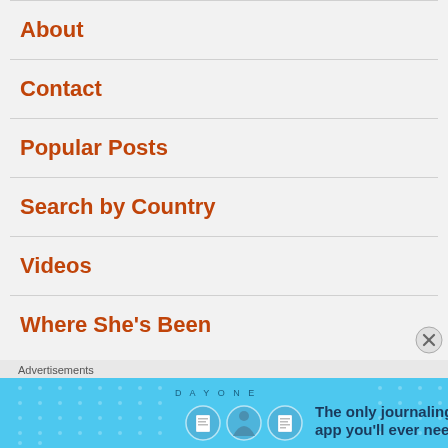About
Contact
Popular Posts
Search by Country
Videos
Where She's Been
Advertisements
[Figure (other): Day One journaling app advertisement banner with blue background and text: 'The only journaling app you'll ever need.']